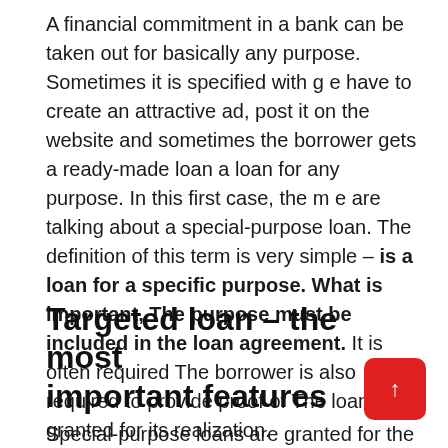A financial commitment in a bank can be taken out for basically any purpose. Sometimes it is specified with g e have to create an attractive ad, post it on the website and sometimes the borrower gets a ready-made loan a loan for any purpose. In this first case, the m e are talking about a special-purpose loan. The definition of this term is very simple – is a loan for a specific purpose. What is important, The purpose must be included in the loan agreement. It is often required The borrower is also required to provide proof of The loan is granted for its realization.
Targeted loan – the most important features
Special-purpose loans are granted for the purpose of